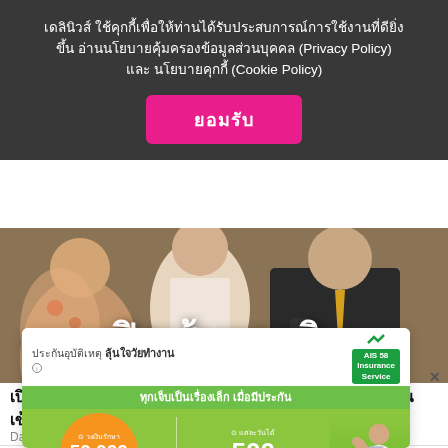เดลินิวส์ ใช้คุกกี้เพื่อให้ท่านได้รับประสบการณ์การใช้งานที่ดียิ่งขึ้น อ่านนโยบายคุ้มครองข้อมูลส่วนบุคคล (Privacy Policy) และ นโยบายคุกกี้ (Cookie Policy)
ยอมรับ
[Figure (photo): Hero banner with people in foreground and large Thai text 'เปิดเส้นทางเงิน' overlaid]
เปิดพฤติการณ์ 'พิ้งกี้-แม่' โยงแชร์ Forex-3D พบเส้นทางเงิน เข้าบัญชีทั้งคู่
Dailynews
[Figure (infographic): AIS58 insurance advertisement banner. Shows accident insurance 'ลุ้นใจวัยทำงาน', tagline 'ทุกเจ็บเป็นเรื่องเล็ก เมื่อมีประกัน', orange circle with 50,000 บาท/อุบัติเหตุ and green section with 500 บาท/วัน, with woman in white jacket]